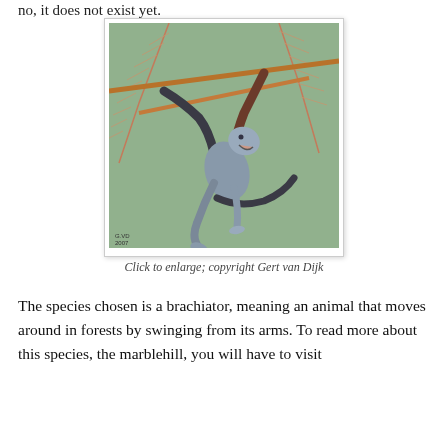no, it does not exist yet.
[Figure (illustration): Painting of a brachiator creature (resembling a monkey-like alien animal) hanging from tree branches with reddish-brown branches and green feathery foliage in the background. The creature has a dark grey body with lighter underbelly. Signed by artist in lower left corner.]
Click to enlarge; copyright Gert van Dijk
The species chosen is a brachiator, meaning an animal that moves around in forests by swinging from its arms. To read more about this species, the marblehill, you will have to visit